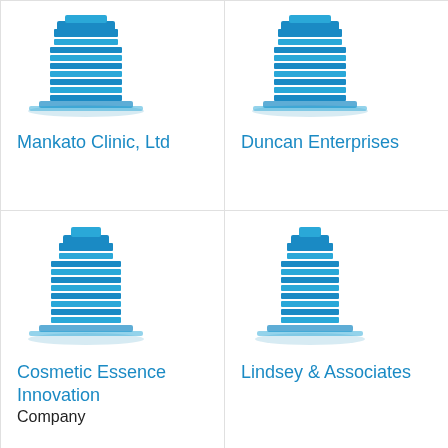[Figure (logo): Building/office tower icon in teal/blue]
Mankato Clinic, Ltd
[Figure (logo): Building/office tower icon in teal/blue]
Duncan Enterprises
[Figure (logo): Building/office tower icon in teal/blue]
Cosmetic Essence Innovation
Company
[Figure (logo): Building/office tower icon in teal/blue]
Lindsey & Associates
[Figure (logo): Knoll wordmark in orange]
[Figure (logo): Building/office tower icon in teal/blue]